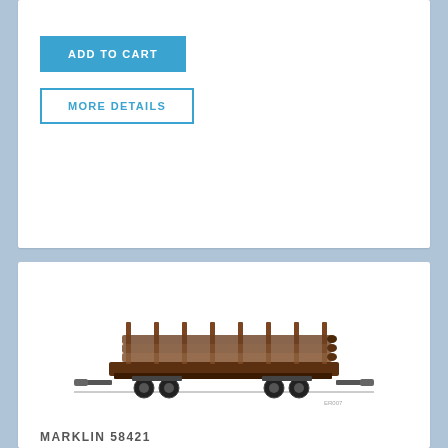ADD TO CART
MORE DETAILS
[Figure (photo): Model train product photo: a brown DB Type R10 Stake Car with sawed log load, side view on white background. Marklin scale model.]
MARKLIN 58421
DB Type R10 Stake Car w/Sawed Log Load
Scale: 1   Era: 3
Country: Germany
ADD TO CART